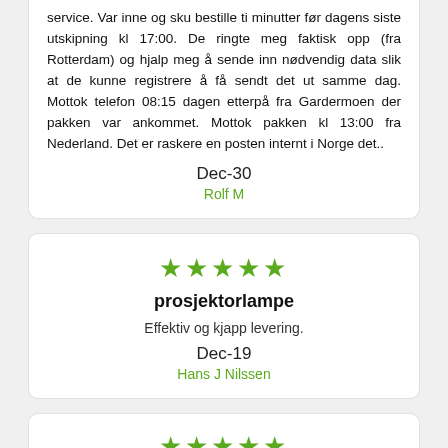service. Var inne og sku bestille ti minutter før dagens siste utskipning kl 17:00. De ringte meg faktisk opp (fra Rotterdam) og hjalp meg å sende inn nødvendig data slik at de kunne registrere å få sendt det ut samme dag. Mottok telefon 08:15 dagen etterpå fra Gardermoen der pakken var ankommet. Mottok pakken kl 13:00 fra Nederland. Det er raskere en posten internt i Norge det..
Dec-30
Rolf M
[Figure (infographic): Five green star rating icons]
prosjektorlampe
Effektiv og kjapp levering.
Dec-19
Hans J Nilssen
[Figure (infographic): Partial five green star rating icons visible at bottom of page]